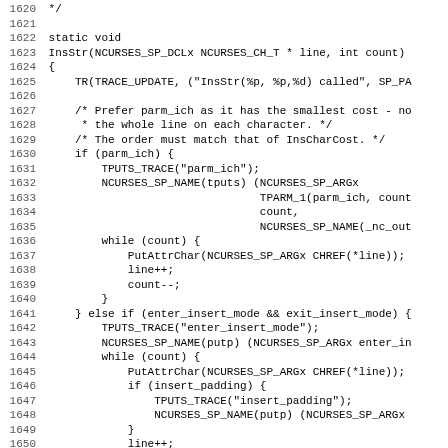Source code listing, lines 1620-1651, C code for InsStr function in ncurses library